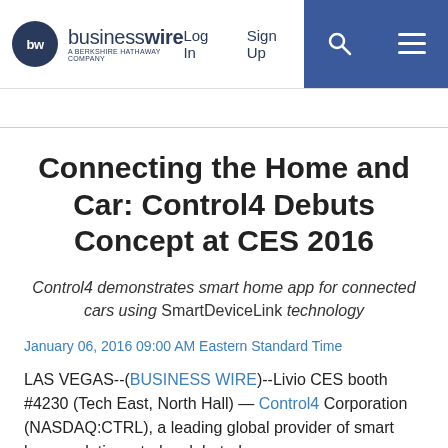businesswire — A BERKSHIRE HATHAWAY COMPANY | Log In | Sign Up
Connecting the Home and Car: Control4 Debuts Concept at CES 2016
Control4 demonstrates smart home app for connected cars using SmartDeviceLink technology
January 06, 2016 09:00 AM Eastern Standard Time
LAS VEGAS--(BUSINESS WIRE)--Livio CES booth #4230 (Tech East, North Hall) — Control4 Corporation (NASDAQ:CTRL), a leading global provider of smart home solutions, today debuted a